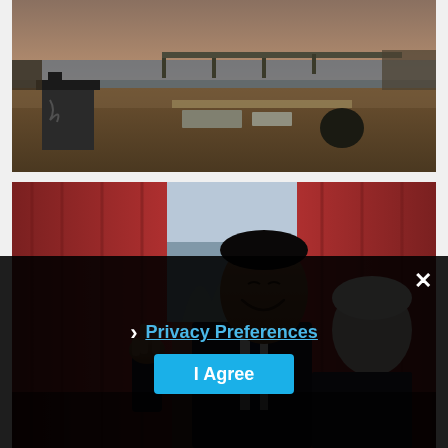[Figure (photo): Outdoor scene showing a riverside or waterfront area at dusk/dawn with a trash bin in the foreground, concrete slabs, dry vegetation, and water in the background with a dock or pier structure.]
[Figure (photo): Photo of a man in a dark suit smiling and waving with two fingers, posing with an elderly woman with white hair, in front of red curtains and a window — appears to be taken in an official indoor setting.]
× Privacy Preferences I Agree